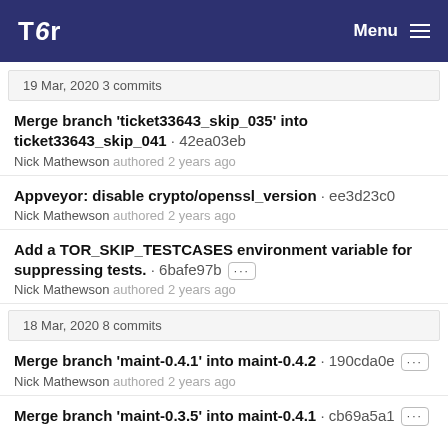Tor  Menu
19 Mar, 2020 3 commits
Merge branch 'ticket33643_skip_035' into ticket33643_skip_041 · 42ea03eb
Nick Mathewson authored 2 years ago
Appveyor: disable crypto/openssl_version · ee3d23c0
Nick Mathewson authored 2 years ago
Add a TOR_SKIP_TESTCASES environment variable for suppressing tests. · 6bafe97b ···
Nick Mathewson authored 2 years ago
18 Mar, 2020 8 commits
Merge branch 'maint-0.4.1' into maint-0.4.2 · 190cda0e ···
Nick Mathewson authored 2 years ago
Merge branch 'maint-0.3.5' into maint-0.4.1 · cb69a5a1 ···